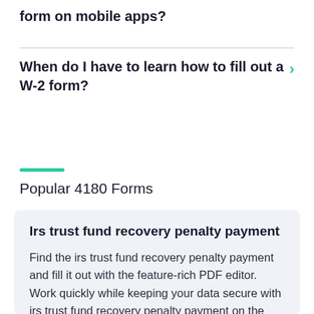form on mobile apps?
When do I have to learn how to fill out a W-2 form?
Popular 4180 Forms
Irs trust fund recovery penalty payment
Find the irs trust fund recovery penalty payment and fill it out with the feature-rich PDF editor. Work quickly while keeping your data secure with irs trust fund recovery penalty payment on the